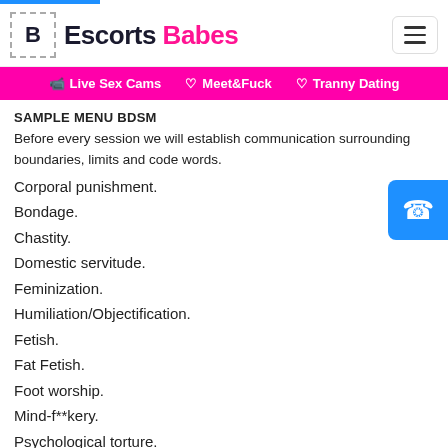Escorts Babes
Live Sex Cams  Meet&Fuck  Tranny Dating
SAMPLE MENU BDSM
Before every session we will establish communication surrounding boundaries, limits and code words.
Corporal punishment.
Bondage.
Chastity.
Domestic servitude.
Feminization.
Humiliation/Objectification.
Fetish.
Fat Fetish.
Foot worship.
Mind-f**kery.
Psychological torture.
Nipple play.
Nipple torture.
Orgasm control.
Role play.
Sensory deprivation.
Spanking.